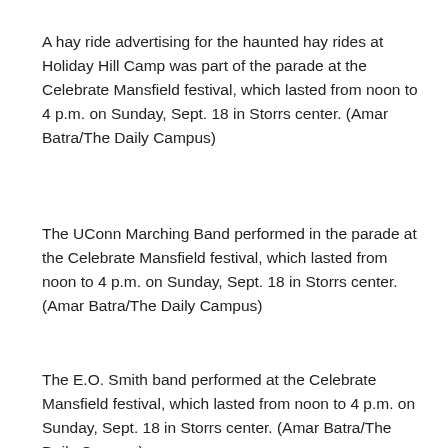A hay ride advertising for the haunted hay rides at Holiday Hill Camp was part of the parade at the Celebrate Mansfield festival, which lasted from noon to 4 p.m. on Sunday, Sept. 18 in Storrs center. (Amar Batra/The Daily Campus)
The UConn Marching Band performed in the parade at the Celebrate Mansfield festival, which lasted from noon to 4 p.m. on Sunday, Sept. 18 in Storrs center. (Amar Batra/The Daily Campus)
The E.O. Smith band performed at the Celebrate Mansfield festival, which lasted from noon to 4 p.m. on Sunday, Sept. 18 in Storrs center. (Amar Batra/The Daily Campus)